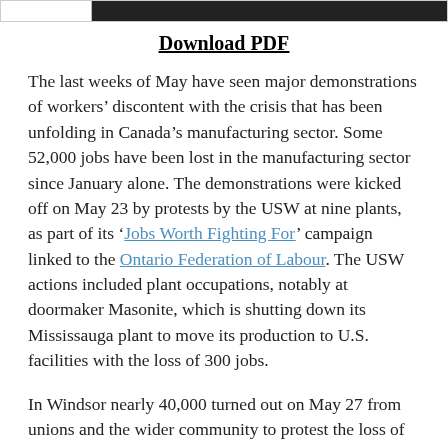[header bar with white and black sections]
Download PDF
The last weeks of May have seen major demonstrations of workers’ discontent with the crisis that has been unfolding in Canada’s manufacturing sector. Some 52,000 jobs have been lost in the manufacturing sector since January alone. The demonstrations were kicked off on May 23 by protests by the USW at nine plants, as part of its ‘Jobs Worth Fighting For’ campaign linked to the Ontario Federation of Labour. The USW actions included plant occupations, notably at doormaker Masonite, which is shutting down its Mississauga plant to move its production to U.S. facilities with the loss of 300 jobs.
In Windsor nearly 40,000 turned out on May 27 from unions and the wider community to protest the loss of manufacturing jobs and the economic crisis that has been besetting Windsor. The demonstration was led by the CAW locals, but also included support from other unions, such as CUPE, the